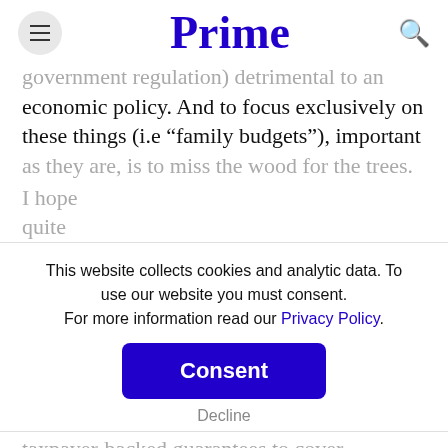Prime
government regulation) detrimental to an economic policy. And to focus exclusively on these things (i.e “family budgets”), important as they are, is to miss the wood for the trees.
This website collects cookies and analytic data. To use our website you must consent. For more information read our Privacy Policy.
Consent
Decline
I hope ... quite ... taxpayer-backed guarantees to cover deposits paid to ... monetary activism – whe... fiscal activism, which in others ho... decries and denounces